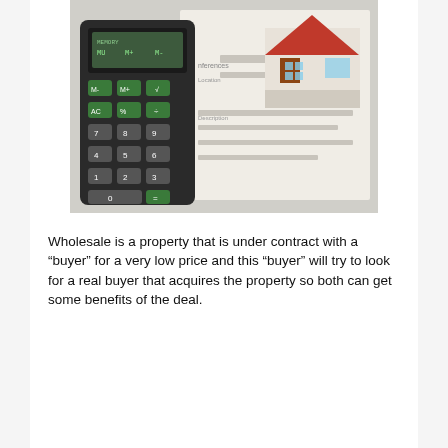[Figure (photo): Photo of a calculator, a house model, and what appears to be a real estate or financial form document, arranged together on a surface.]
Wholesale is a property that is under contract with a “buyer” for a very low price and this “buyer” will try to look for a real buyer that acquires the property so both can get some benefits of the deal.
They then assign these contracts to the wholesaler, who then looks for investors who are willing to buy the properties.
If this kind of investing appeals to you then we will teach you how this process works as well as the best way to find an